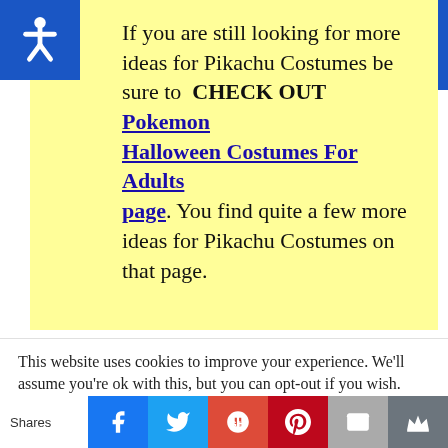If you are still looking for more ideas for Pikachu Costumes be sure to CHECK OUT Pokemon Halloween Costumes For Adults page. You find quite a few more ideas for Pikachu Costumes on that page.
This website uses cookies to improve your experience. We'll assume you're ok with this, but you can opt-out if you wish.
[Figure (infographic): Social sharing bar with Facebook, Twitter, Google+, Pinterest, Email, and crown/bookmark buttons. Shows 'Shares' label on the left.]